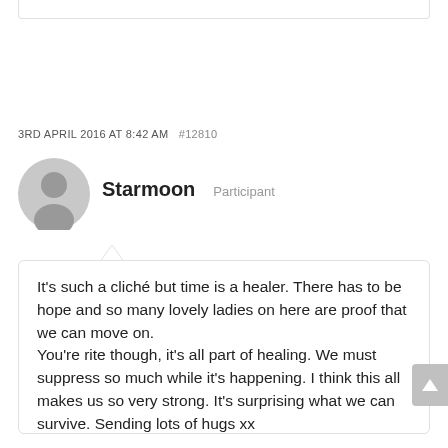3RD APRIL 2016 AT 8:42 AM  #12810
[Figure (illustration): Grey circular avatar icon representing a user profile picture]
Starmoon  Participant
It’s such a cliché but time is a healer. There has to be hope and so many lovely ladies on here are proof that we can move on.
You’re rite though, it’s all part of healing. We must suppress so much while it’s happening. I think this all makes us so very strong. It’s surprising what we can survive. Sending lots of hugs xx